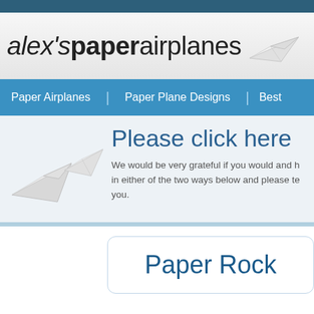alex'spaperairplanes
[Figure (illustration): Paper airplane folded origami style in top right of header]
Paper Airplanes | Paper Plane Designs | Best
[Figure (illustration): Two paper airplanes folded origami style, white on light blue-grey background]
Please click here
We would be very grateful if you would and help in either of the two ways below and please te you.
Paper Rock